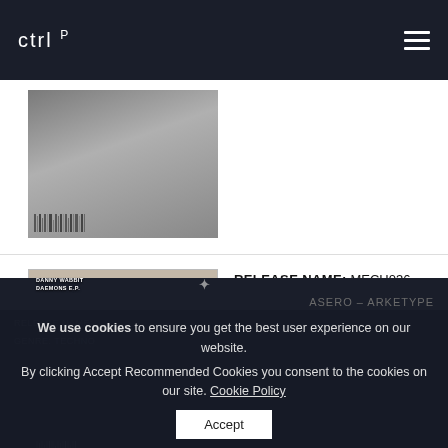ctrl P
[Figure (photo): Partially visible album cover at top, grayscale image with barcode at bottom]
RELEASE NAME: MECH036 DANNY WABBIT - DAEMONS E.P.
GENRE: Techno
RELEASE DATE: 25 08 2020
[Figure (photo): Album cover for MECH036 DANNY WABBIT - DAEMONS E.P., showing a winged figure, with symbol logo top right, barcode bottom left]
We use cookies to ensure you get the best user experience on our website. By clicking Accept Recommended Cookies you consent to the cookies on our site. Cookie Policy
Accept